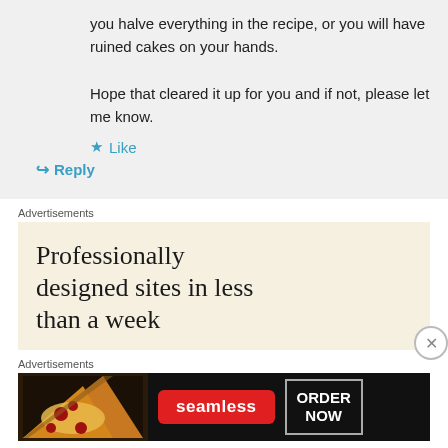you halve everything in the recipe, or you will have ruined cakes on your hands.
Hope that cleared it up for you and if not, please let me know.
★ Like
↪ Reply
Advertisements
[Figure (screenshot): Ad banner: 'Professionally designed sites in less than a week' on cream background with document card images]
Advertisements
[Figure (screenshot): Seamless food delivery banner ad with pizza image, red Seamless logo pill, and ORDER NOW button on dark background]